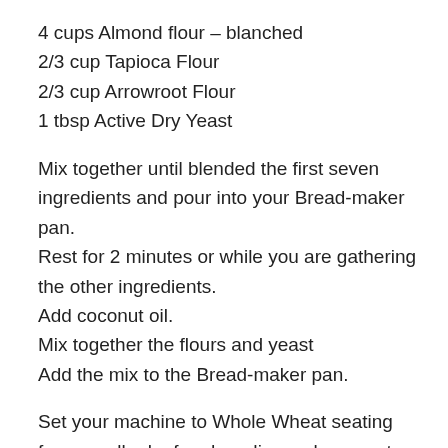4 cups Almond flour – blanched
2/3 cup Tapioca Flour
2/3 cup Arrowroot Flour
1 tbsp Active Dry Yeast
Mix together until blended the first seven ingredients and pour into your Bread-maker pan.
Rest for 2 minutes or while you are gathering the other ingredients.
Add coconut oil.
Mix together the flours and yeast
Add the mix to the Bread-maker pan.
Set your machine to Whole Wheat seating for a smaller loaf and medium colour crust.
Press to start.
Once the dough has done it's first mix, check to see